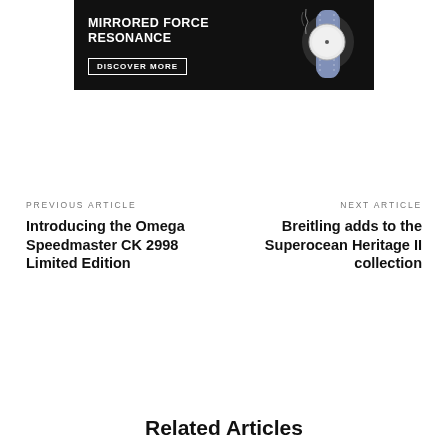[Figure (illustration): Advertisement banner for a luxury watch brand featuring a watch with blue strap on black background with text 'MIRRORED FORCE RESONANCE' and 'DISCOVER MORE' button]
PREVIOUS ARTICLE
Introducing the Omega Speedmaster CK 2998 Limited Edition
NEXT ARTICLE
Breitling adds to the Superocean Heritage II collection
Related Articles